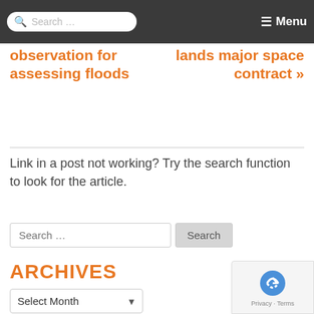Search ... Menu
observation for assessing floods
lands major space contract »
Link in a post not working? Try the search function to look for the article.
ARCHIVES